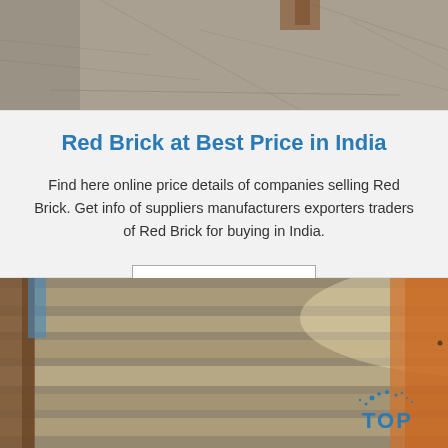[Figure (photo): Top portion of a photo showing a concrete/stone floor surface with some wooden object partially visible at top]
Red Brick at Best Price in India
Find here online price details of companies selling Red Brick. Get info of suppliers manufacturers exporters traders of Red Brick for buying in India.
Get Price
[Figure (photo): Photo of metal roofing sheets or galvanized steel sheets stacked, with a 'TOP' watermark logo in blue in the bottom right corner]